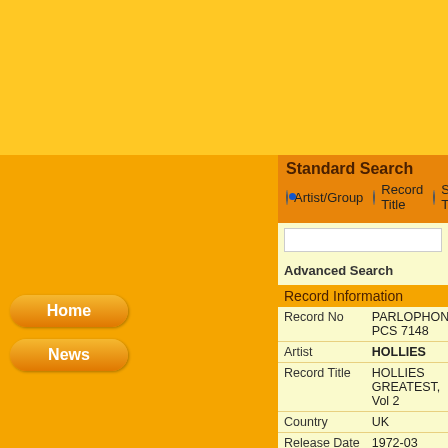Standard Search
Artist/Group   Record Title   Song Title
Advanced Search
Record Information
| Record No | PARLOPHONE PCS 7148 |
| Artist | HOLLIES |
| Record Title | HOLLIES GREATEST, Vol 2 |
| Country | UK |
| Release Date | 1972-03 |
| Label | PARLOPHONE |
| Media | LP |
| Tracks | 12 |
| Matrix No | YEX 879-880 |
| Type | Stereo |
Songs
| # | Artist | Song Title |
| --- | --- | --- |
| A1 | HOLLIES | GASOLINE ALL... |
| A2 | HOLLIES | SEARCHIN' |
| A3 | HOLLIES | LISTEN TO ME |
| A4 | HOLLIES | TOO YOUNG TO... |
Home
News